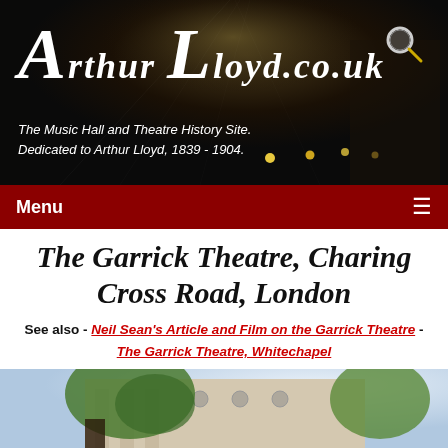[Figure (photo): Dark theatre interior header banner with dramatic lighting, showing 'Arthur Lloyd.co.uk' logo in white italic serif font and tagline below]
Arthur Lloyd.co.uk — The Music Hall and Theatre History Site. Dedicated to Arthur Lloyd, 1839 - 1904.
Menu
The Garrick Theatre, Charing Cross Road, London
See also - Neil Sean's Article and Film on the Garrick Theatre - The Garrick Theatre, Whitechapel
[Figure (photo): Exterior photograph of the Garrick Theatre building with classical architecture, columns and circular windows, with trees in the foreground and a bright sky]